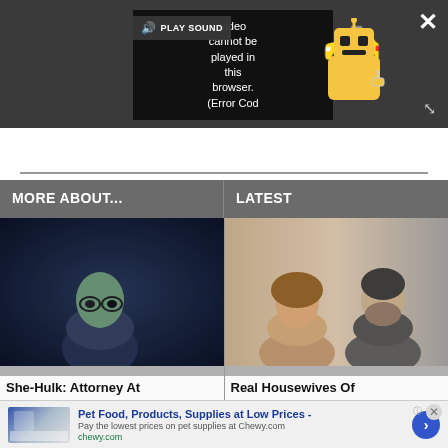[Figure (screenshot): Video player on dark gray background showing error message: 'Video cannot be played in this browser. (Error Cod' with a PLAY SOUND button and a yellow robot/bot icon. A close X button appears top right and an expand icon bottom right.]
MORE ABOUT...
LATEST
[Figure (photo): She-Hulk: Attorney At - green-tinted person with glasses in dark scene]
[Figure (photo): Real Housewives Of - woman and man side by side in car]
She-Hulk: Attorney At
Real Housewives Of
[Figure (screenshot): Advertisement bar: Pet Food, Products, Supplies at Low Prices - chewy.com]